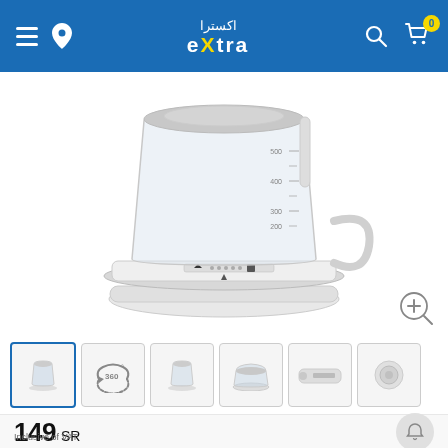extra (eXtra) e-commerce website header with logo, navigation icons, and cart
[Figure (photo): White electric glass kettle product image shown from bottom/front angle, with measurement markings visible on the glass body and a white base]
[Figure (other): Product image thumbnails row: 6 thumbnail images of the kettle from various angles, with the first thumbnail selected (blue border), second showing 360-degree view icon]
149 SR
Inclusive of VAT